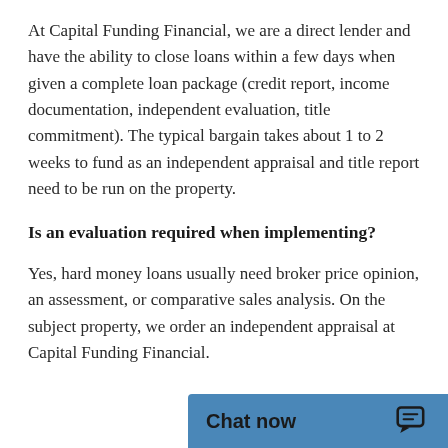At Capital Funding Financial, we are a direct lender and have the ability to close loans within a few days when given a complete loan package (credit report, income documentation, independent evaluation, title commitment). The typical bargain takes about 1 to 2 weeks to fund as an independent appraisal and title report need to be run on the property.
Is an evaluation required when implementing?
Yes, hard money loans usually need broker price opinion, an assessment, or comparative sales analysis. On the subject property, we order an independent appraisal at Capital Funding Financial.
[Figure (other): Blue chat widget bar with 'Chat now' text and a chat bubble icon]